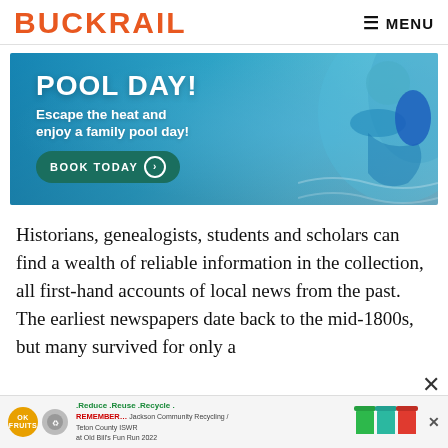BUCKRAIL  ☰ MENU
[Figure (photo): Advertisement banner showing children swimming underwater in a pool with text 'POOL DAY! Escape the heat and enjoy a family pool day!' and a 'BOOK TODAY' button.]
Historians, genealogists, students and scholars can find a wealth of reliable information in the collection, all first-hand accounts of local news from the past. The earliest newspapers date back to the mid-1800s, but many survived for only a brief time and disappeared like the...
[Figure (infographic): Bottom advertisement bar for Jackson Community Recycling / Teton County ISWR at Old Bill's Fun Run 2022. Shows recycling logos, text '.Reduce.Reuse.Recycle. REMEMBER... JACKSON COMMUNITY RECYCLING / TETON COUNTY ISWR AT OLD BILL'S FUN RUN 2022', and three colored recycling bins (green, teal, red).]